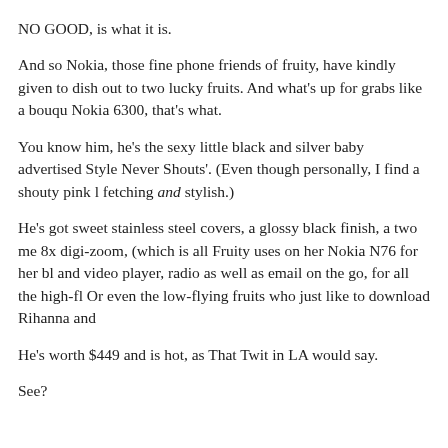NO GOOD, is what it is.
And so Nokia, those fine phone friends of fruity, have kindly given to dish out to two lucky fruits. And what's up for grabs like a bouqu Nokia 6300, that's what.
You know him, he's the sexy little black and silver baby advertised Style Never Shouts'. (Even though personally, I find a shouty pink l fetching and stylish.)
He's got sweet stainless steel covers, a glossy black finish, a two me 8x digi-zoom, (which is all Fruity uses on her Nokia N76 for her bl and video player, radio as well as email on the go, for all the high-fl Or even the low-flying fruits who just like to download Rihanna and
He's worth $449 and is hot, as That Twit in LA would say.
See?